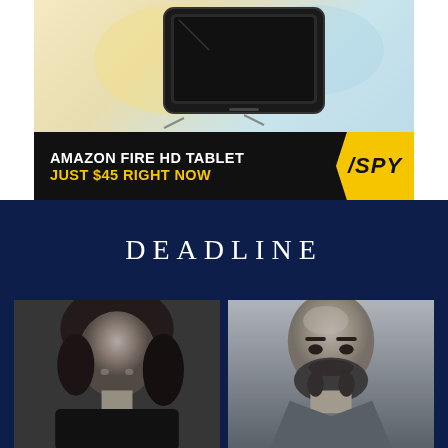[Figure (screenshot): Advertisement for Amazon Fire HD Tablet showing a tablet device image above a dark banner. Banner reads 'AMAZON FIRE HD TABLET JUST $45 RIGHT NOW' with a yellow SPY logo badge on the right.]
[Figure (logo): DEADLINE logo in white serif uppercase letters on a dark navy background.]
[Figure (photo): Black and white headshot photo of a woman with curly dark hair on the left, and a color/muted headshot of a bald bearded man on the right, both on dark navy background.]